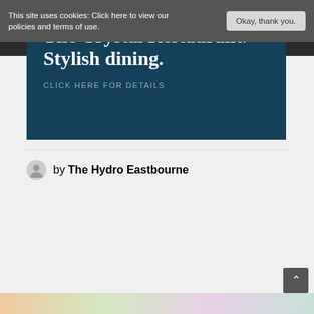This site uses cookies: Click here to view our policies and terms of use.  |  Okay, thank you.
[Figure (screenshot): Dark teal banner with white bold serif text reading 'The Crystal Restaurant. Stylish dining.' and muted link text 'CLICK HERE FOR DETAILS']
by The Hydro Eastbourne
[Figure (photo): Partial view of a floral arrangement photo at the bottom of the page]